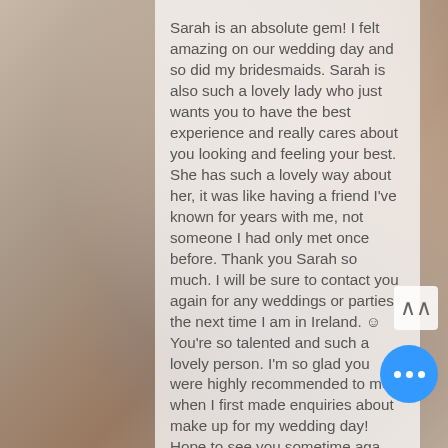[Figure (photo): Background photo of people at a wedding, partially visible behind white overlay]
Sarah is an absolute gem! I felt amazing on our wedding day and so did my bridesmaids. Sarah is also such a lovely lady who just wants you to have the best experience and really cares about you looking and feeling your best. She has such a lovely way about her, it was like having a friend I've known for years with me, not someone I had only met once before. Thank you Sarah so much. I will be sure to contact you again for any weddings or parties the next time I am in Ireland. ☺You're so talented and such a lovely person. I'm so glad you were highly recommended to me when I first made enquiries about make up for my wedding day! Hope to see you sometime aga...
Theresa (Mrs MacDonald) x